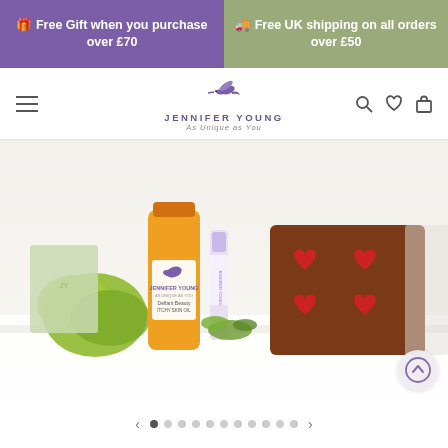🎁 Free Gift when you purchase over £70
🚚 Free UK shipping on all orders over £50
[Figure (logo): Jennifer Young brand logo with hummingbird icon and tagline 'As Unique as You']
[Figure (photo): Product display showing Jennifer Young skincare products including Defiant Beauty Itchy Skin Oil bottle, a lip balm stick, and a brown chocolate-colored soap/wax melt tray with red heart shapes, alongside green foliage decorations on a white surface]
carousel navigation with dots and arrows